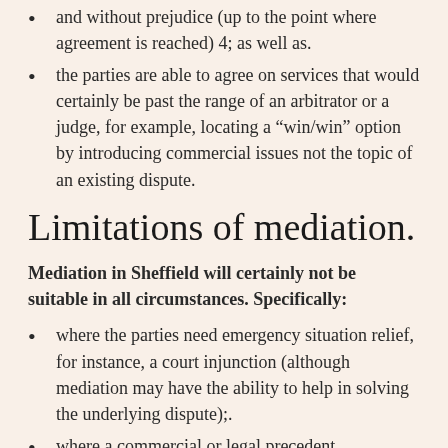and without prejudice (up to the point where agreement is reached) 4; as well as.
the parties are able to agree on services that would certainly be past the range of an arbitrator or a judge, for example, locating a “win/win” option by introducing commercial issues not the topic of an existing dispute.
Limitations of mediation.
Mediation in Sheffield will certainly not be suitable in all circumstances. Specifically:
where the parties need emergency situation relief, for instance, a court injunction (although mediation may have the ability to help in solving the underlying dispute);.
where a commercial or legal precedent